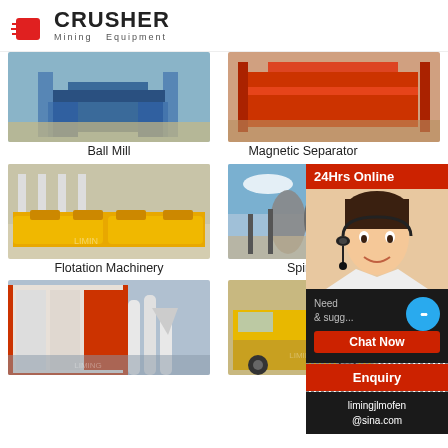[Figure (logo): Crusher Mining Equipment logo with red shopping bag icon and bold CRUSHER text]
[Figure (photo): Ball Mill machinery photo - blue metal frame structure]
Ball Mill
[Figure (photo): Magnetic Separator machinery photo - red metal equipment]
Magnetic Separator
[Figure (photo): Flotation Machinery photo - yellow industrial flotation machines in factory]
Flotation Machinery
[Figure (photo): Spiral classifier or concentrator machinery photo - outdoor industrial equipment]
Spiral
[Figure (photo): Industrial mill or grinder facility exterior photo]
[Figure (photo): Yellow industrial vehicle or equipment photo]
[Figure (infographic): 24Hrs Online sidebar with customer service representative, Chat Now button, Enquiry section, and limingjlmofen@sina.com email]